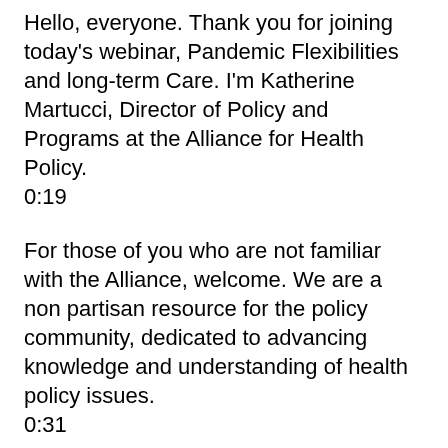Hello, everyone. Thank you for joining today's webinar, Pandemic Flexibilities and long-term Care. I'm Katherine Martucci, Director of Policy and Programs at the Alliance for Health Policy.
0:19
For those of you who are not familiar with the Alliance, welcome. We are a non partisan resource for the policy community, dedicated to advancing knowledge and understanding of health policy issues.
0:31
I want to take a moment to thank the Commonwealth Fund for sponsoring this event and remind everyone that you can join today's conversation on Twitter using the hashtag all Health Lies, and follow us at all Health policy.
0:44